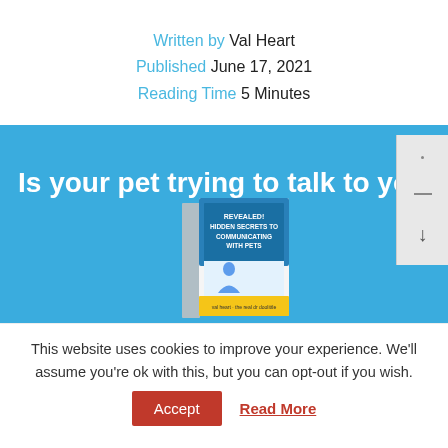Written by Val Heart
Published June 17, 2021
Reading Time 5 Minutes
[Figure (screenshot): Blue banner with bold white text 'Is your pet trying to talk to you?' and a book cover image reading 'REVEALED! HIDDEN SECRETS TO COMMUNICATING WITH PETS'. A scrollbar widget is visible on the right side.]
This website uses cookies to improve your experience. We'll assume you're ok with this, but you can opt-out if you wish.
Accept  Read More